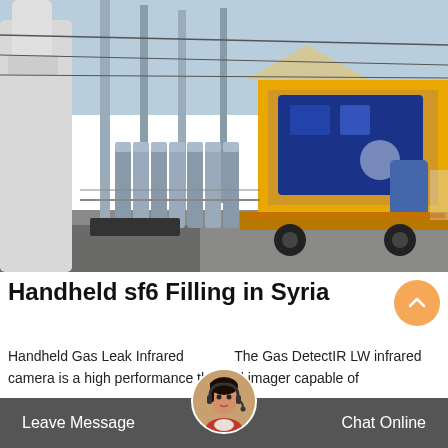[Figure (photo): Industrial site with gas cylinders, pipes, electrical infrastructure poles, and a yellow-framed truck-mounted equipment unit, likely related to SF6 gas filling operations in Syria.]
Handheld sf6 Filling in Syria
Handheld Gas Leak Infrared ... The Gas DetectIR LW infrared camera is a high performance thermal imager capable of
Leave Message   Chat Online